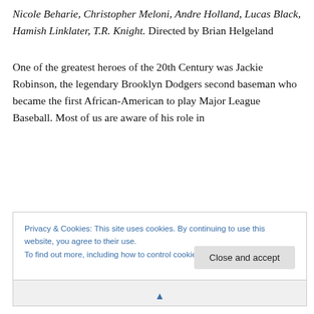Nicole Beharie, Christopher Meloni, Andre Holland, Lucas Black, Hamish Linklater, T.R. Knight. Directed by Brian Helgeland
One of the greatest heroes of the 20th Century was Jackie Robinson, the legendary Brooklyn Dodgers second baseman who became the first African-American to play Major League Baseball. Most of us are aware of his role in
Privacy & Cookies: This site uses cookies. By continuing to use this website, you agree to their use.
To find out more, including how to control cookies, see here: Cookie Policy
Close and accept